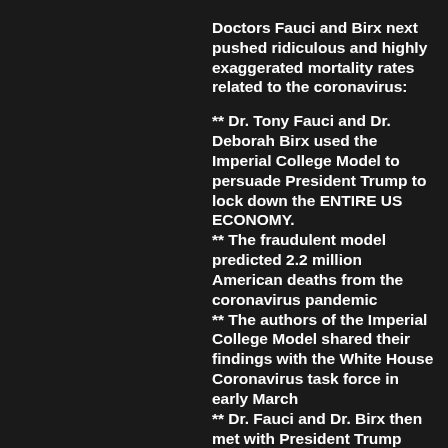Doctors Fauci and Birx next pushed ridiculous and highly exaggerated mortality rates related to the coronavirus:
** Dr. Tony Fauci and Dr. Deborah Birx used the Imperial College Model to persuade President Trump to lock down the ENTIRE US ECONOMY.
** The fraudulent model predicted 2.2 million American deaths from the coronavirus pandemic
** The authors of the Imperial College Model shared their findings with the White House Coronavirus task force in early March
** Dr. Fauci and Dr. Birx then met with President Trump